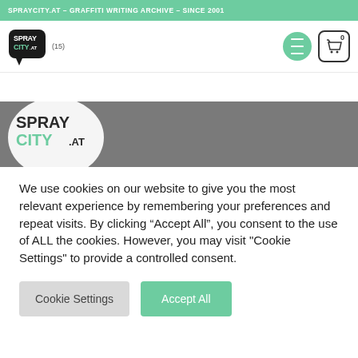SPRAYCITY.AT - GRAFFITI WRITING ARCHIVE - SINCE 2001
[Figure (logo): SprayCity.at logo — speech bubble shape with SPRAY CITY AT text in graffiti style]
[Figure (logo): SprayCity.at large logo on dark grey band background]
We use cookies on our website to give you the most relevant experience by remembering your preferences and repeat visits. By clicking “Accept All”, you consent to the use of ALL the cookies. However, you may visit "Cookie Settings" to provide a controlled consent.
Cookie Settings
Accept All